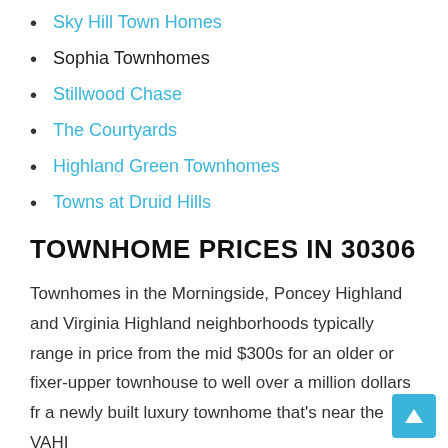Sky Hill Town Homes
Sophia Townhomes
Stillwood Chase
The Courtyards
Highland Green Townhomes
Towns at Druid Hills
TOWNHOME PRICES IN 30306
Townhomes in the Morningside, Poncey Highland and Virginia Highland neighborhoods typically range in price from the mid $300s for an older or fixer-upper townhouse to well over a million dollars for a newly built luxury townhome that's near the VAHI